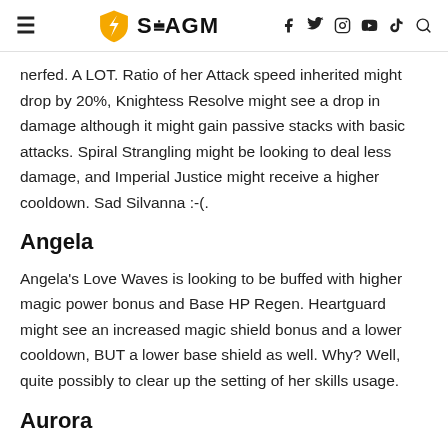SEAGM
nerfed. A LOT. Ratio of her Attack speed inherited might drop by 20%, Knightess Resolve might see a drop in damage although it might gain passive stacks with basic attacks. Spiral Strangling might be looking to deal less damage, and Imperial Justice might receive a higher cooldown. Sad Silvanna :-(.
Angela
Angela's Love Waves is looking to be buffed with higher magic power bonus and Base HP Regen. Heartguard might see an increased magic shield bonus and a lower cooldown, BUT a lower base shield as well. Why? Well, quite possibly to clear up the setting of her skills usage.
Aurora